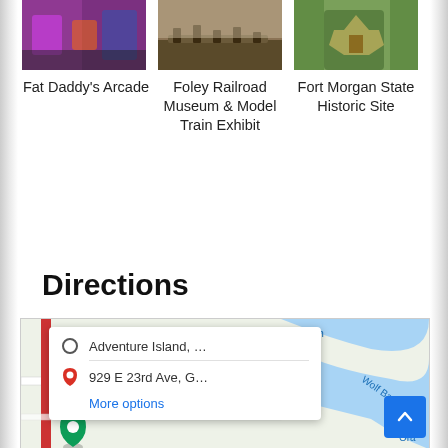[Figure (photo): Photo of Fat Daddy's Arcade, colorful indoor arcade]
Fat Daddy's Arcade
[Figure (photo): Photo of Foley Railroad Museum & Model Train Exhibit, model train display]
Foley Railroad Museum & Model Train Exhibit
[Figure (photo): Photo of Fort Morgan State Historic Site, aerial view of star fort]
Fort Morgan State Historic Site
Directions
[Figure (map): Google Maps showing directions from Adventure Island to 929 E 23rd Ave, G... with a popup card showing 'Adventure Island, ...' and '929 E 23rd Ave, G...' and 'More options' link. Map shows water body labeled Bamah, Wolf Bay, and Ora.]